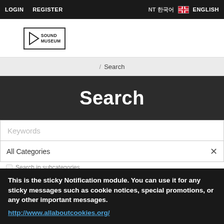LOGIN   REGISTER   NT 한국어   ENGLISH
[Figure (logo): Sound Museum logo — play triangle icon with SOUND MUSEUM text in a box border]
/ Search
Search
Keywords
All Categories
Search in subcategories
Search in product descriptions
This is the sticky Notification module. You can use it for any sticky messages such as cookie notices, special promotions, or any other important messages. http://www.allaboutcookies.org/
SEARCH